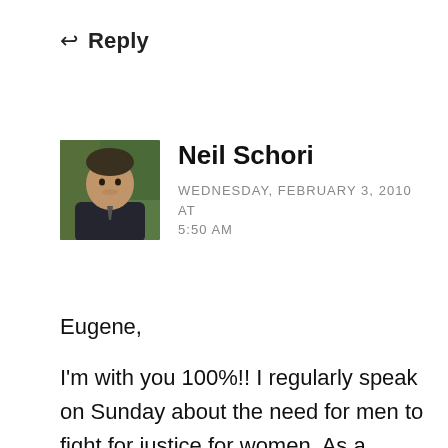↩ Reply
[Figure (photo): Profile photo of Neil Schori - a man in a dark suit jacket outdoors with trees in background]
Neil Schori
WEDNESDAY, FEBRUARY 3, 2010 AT 5:50 AM
Eugene,
I'm with you 100%!! I regularly speak on Sunday about the need for men to fight for justice for women. As a matter of fact, my church is becoming known as a safe church for abused women. Unfortunately, there